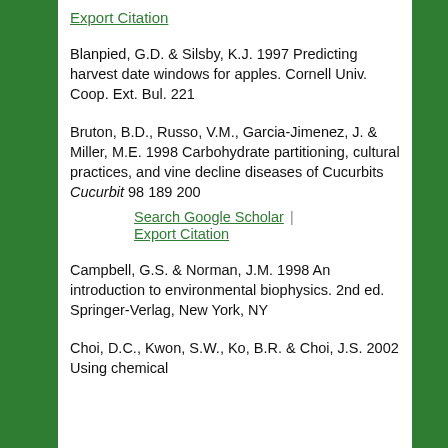Export Citation
Blanpied, G.D. & Silsby, K.J. 1997 Predicting harvest date windows for apples. Cornell Univ. Coop. Ext. Bul. 221
Bruton, B.D., Russo, V.M., Garcia-Jimenez, J. & Miller, M.E. 1998 Carbohydrate partitioning, cultural practices, and vine decline diseases of Cucurbits Cucurbit 98 189 200
Search Google Scholar
Export Citation
Campbell, G.S. & Norman, J.M. 1998 An introduction to environmental biophysics. 2nd ed. Springer-Verlag, New York, NY
Choi, D.C., Kwon, S.W., Ko, B.R. & Choi, J.S. 2002 Using chemical